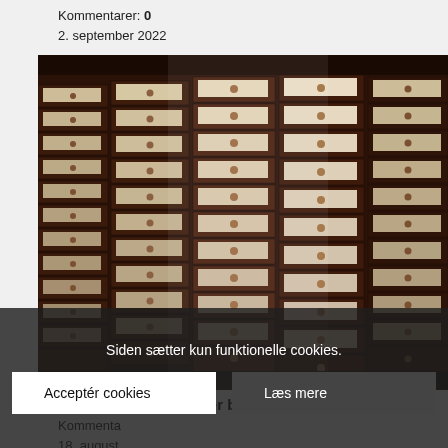Kommentarer: 0
2. september 2022
[Figure (photo): Photograph of a large wooden card catalog cabinet with many small drawers, each fitted with label holders containing handwritten index cards. The cabinet is photographed from an angle showing rows and columns of drawers receding into the background.]
Den store oprydning er begyndt 5
Kommentarer:
18. august
Siden sætter kun funktionelle cookies.
Acceptér cookies
Læs mere